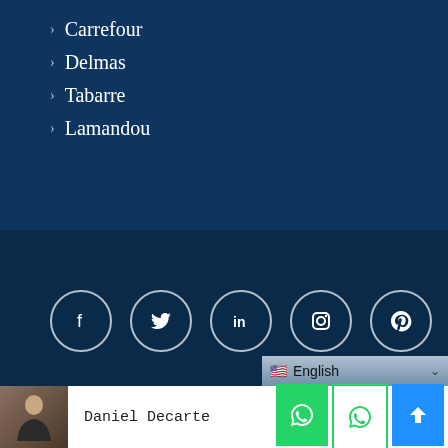Carrefour
Delmas
Tabarre
Lamandou
[Figure (infographic): Row of 6 circular social media icon buttons on dark blue background: Facebook, Twitter, LinkedIn, Instagram, Pinterest, YouTube]
© 2020-2022 Best of Haiti Real Estate, S.A. LLC - All rights reserved
Daniel Decarte
English